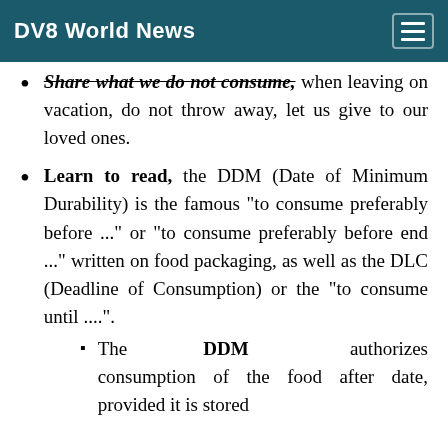DV8 World News
Share what we do not consume, when leaving on vacation, do not throw away, let us give to our loved ones.
Learn to read, the DDM (Date of Minimum Durability) is the famous "to consume preferably before ..." or "to consume preferably before end ..." written on food packaging, as well as the DLC (Deadline of Consumption) or the "to consume until ....".
The DDM authorizes consumption of the food after date, provided it is stored